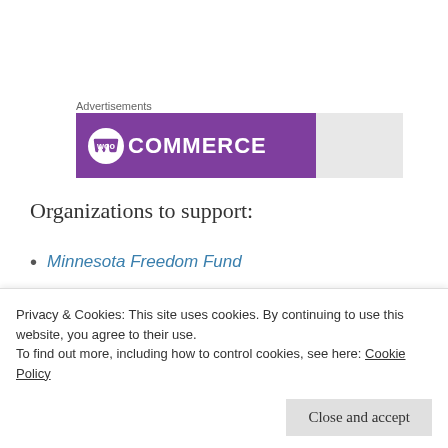Advertisements
[Figure (logo): WooCommerce logo on purple background with gray section on right]
Organizations to support:
Minnesota Freedom Fund
National Bail Out
North Star Health Collective
Privacy & Cookies: This site uses cookies. By continuing to use this website, you agree to their use.
To find out more, including how to control cookies, see here: Cookie Policy
Close and accept